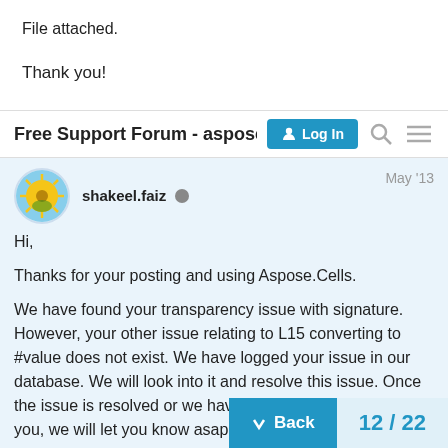File attached.
Thank you!
Free Support Forum - aspose.co  [Log In] [Search] [Menu]
shakeel.faiz  May '13
Hi,

Thanks for your posting and using Aspose.Cells.

We have found your transparency issue with signature. However, your other issue relating to L15 converting to #value does not exist. We have logged your issue in our database. We will look into it and resolve this issue. Once the issue is resolved or we have some other update for you, we will let you know asap.

We have tested your issue with the latest for .NET v7.4.2.2. We have also attached